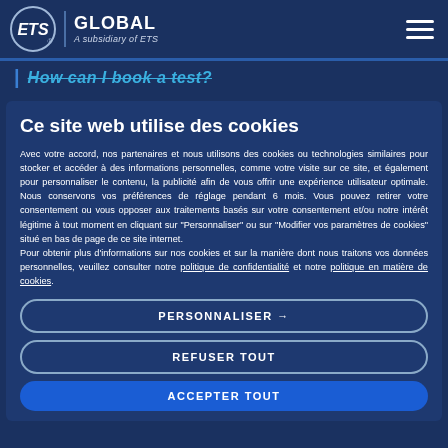ETS GLOBAL — A subsidiary of ETS
How can I book a test?
Ce site web utilise des cookies
Avec votre accord, nos partenaires et nous utilisons des cookies ou technologies similaires pour stocker et accéder à des informations personnelles, comme votre visite sur ce site, et également pour personnaliser le contenu, la publicité afin de vous offrir une expérience utilisateur optimale. Nous conservons vos préférences de réglage pendant 6 mois. Vous pouvez retirer votre consentement ou vous opposer aux traitements basés sur votre consentement et/ou notre intérêt légitime à tout moment en cliquant sur "Personnaliser" ou sur "Modifier vos paramètres de cookies" situé en bas de page de ce site internet.
Pour obtenir plus d'informations sur nos cookies et sur la manière dont nous traitons vos données personnelles, veuillez consulter notre politique de confidentialité et notre politique en matière de cookies.
PERSONNALISER →
REFUSER TOUT
ACCEPTER TOUT